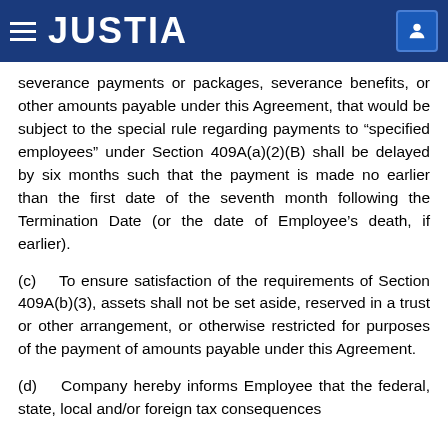JUSTIA
severance payments or packages, severance benefits, or other amounts payable under this Agreement, that would be subject to the special rule regarding payments to “specified employees” under Section 409A(a)(2)(B) shall be delayed by six months such that the payment is made no earlier than the first date of the seventh month following the Termination Date (or the date of Employee’s death, if earlier).
(c) To ensure satisfaction of the requirements of Section 409A(b)(3), assets shall not be set aside, reserved in a trust or other arrangement, or otherwise restricted for purposes of the payment of amounts payable under this Agreement.
(d) Company hereby informs Employee that the federal, state, local and/or foreign tax consequences